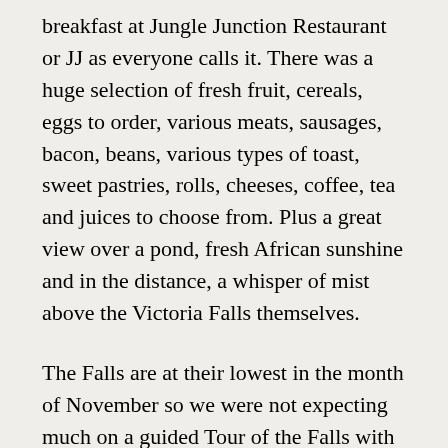breakfast at Jungle Junction Restaurant or JJ as everyone calls it. There was a huge selection of fresh fruit, cereals, eggs to order, various meats, sausages, bacon, beans, various types of toast, sweet pastries, rolls, cheeses, coffee, tea and juices to choose from. Plus a great view over a pond, fresh African sunshine and in the distance, a whisper of mist above the Victoria Falls themselves.
The Falls are at their lowest in the month of November so we were not expecting much on a guided Tour of the Falls with our very friendly and knowledgeable guide Abiat from Wilderness Safaris Zimbabwe. I was not impressed by the entrance of $30.00 per person. Hopefully the authorities will make the entrance ticket valid for several (3?) days so that visitors can check out the Falls at various time of the day and early morning or